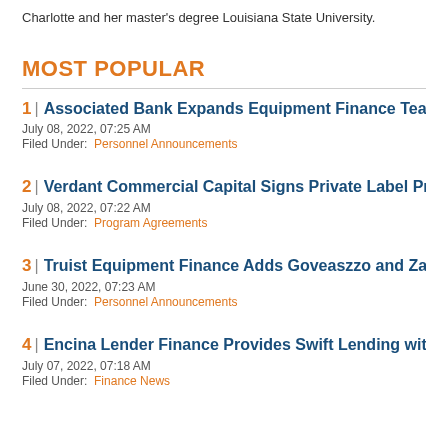Charlotte and her master's degree Louisiana State University.
MOST POPULAR
1 | Associated Bank Expands Equipment Finance Team in Wisco...
July 08, 2022, 07:25 AM
Filed Under: Personnel Announcements
2 | Verdant Commercial Capital Signs Private Label Program Agr...
July 08, 2022, 07:22 AM
Filed Under: Program Agreements
3 | Truist Equipment Finance Adds Goveaszzo and Zacharko
June 30, 2022, 07:23 AM
Filed Under: Personnel Announcements
4 | Encina Lender Finance Provides Swift Lending with $30MM Se...
July 07, 2022, 07:18 AM
Filed Under: Finance News